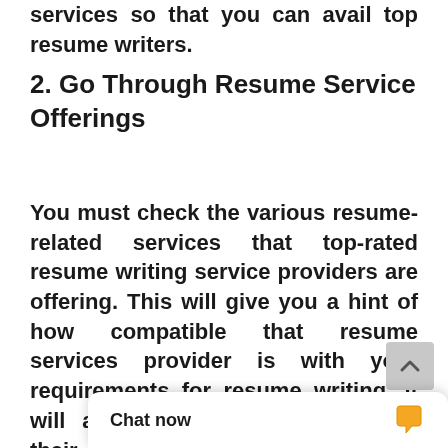services so that you can avail top resume writers.
2. Go Through Resume Service Offerings
You must check the various resume-related services that top-rated resume writing service providers are offering. This will give you a hint of how compatible that resume services provider is with your requirements for resume writing. It will also help you to understand their expertise, strengths, and flagship resume services.